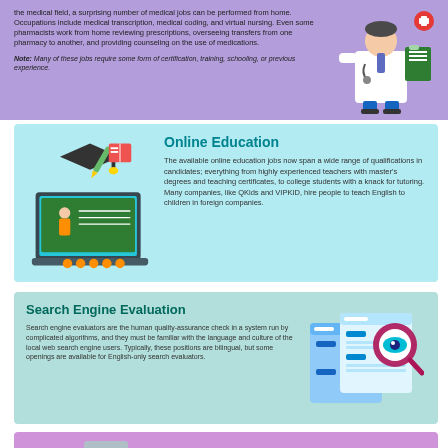the medical field, a surprising number of medical jobs can be performed from home. Occupations include medical transcription, medical coding, and virtual nursing. Even some pharmacists work from home reviewing prescriptions, overseeing transfers from one pharmacy to another, and providing counseling on the use of medications.
Note: Many of these jobs require some form of certification, training, schooling, or previous experience.
[Figure (illustration): Doctor/medical professional illustration with clipboard and medical cross symbol]
[Figure (illustration): Online education icons: graduation cap, pencil, book, laptop with teacher at chalkboard]
Online Education
The available online education jobs now span a wide range of qualifications in candidates; everything from highly experienced teachers with master's degrees and teaching certificates, to college students with a knack for tutoring. Many companies, like QKids and VIPKID, hire people to teach English to children in foreign companies.
Search Engine Evaluation
Search engine evaluators are the human quality-assurance check in a system run by complicated algorithms, and they must be familiar with the language and culture of the local web search engine users. Typically, these positions are bilingual, but some openings are available for English-only search evaluators.
[Figure (illustration): Search engine evaluation illustration: browser windows with magnifying glass and eye]
Financial, Accounting, and Bookkeeping
[Figure (illustration): Financial illustrations: money/cash and documents with checklist]